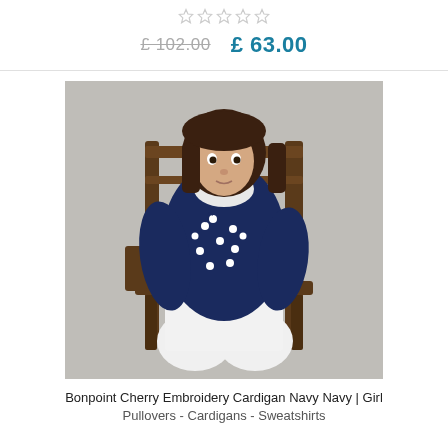[Figure (other): Five empty star rating icons in a row]
£ 102.00   £ 63.00
[Figure (photo): A young girl with a bob haircut sitting on a wooden chair, wearing a navy blue cherry embroidery cardigan with a white collar and white trousers, photographed against a grey background]
Bonpoint Cherry Embroidery Cardigan Navy Navy | Girl Pullovers - Cardigans - Sweatshirts